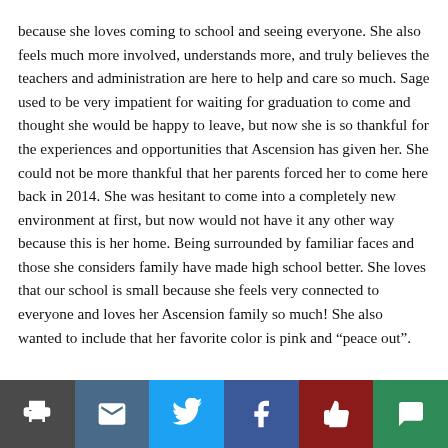because she loves coming to school and seeing everyone. She also feels much more involved, understands more, and truly believes the teachers and administration are here to help and care so much. Sage used to be very impatient for waiting for graduation to come and thought she would be happy to leave, but now she is so thankful for the experiences and opportunities that Ascension has given her. She could not be more thankful that her parents forced her to come here back in 2014. She was hesitant to come into a completely new environment at first, but now would not have it any other way because this is her home. Being surrounded by familiar faces and those she considers family have made high school better. She loves that our school is small because she feels very connected to everyone and loves her Ascension family so much! She also wanted to include that her favorite color is pink and “peace out”.
[Figure (other): Social sharing toolbar with icons for print, email, Twitter, Facebook, like/thumbs-up, and comment]